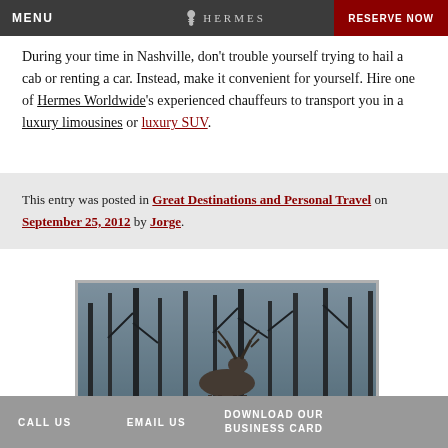During your time in Nashville, don't trouble yourself trying to hail a cab or renting a car. Instead, make it convenient for yourself. Hire one of Hermes Worldwide's experienced chauffeurs to transport you in a luxury limousines or luxury SUV.
This entry was posted in Great Destinations and Personal Travel on September 25, 2012 by Jorge.
[Figure (photo): Winter forest scene with deer antlers visible among bare snow-covered trees]
CALL US  EMAIL US  DOWNLOAD OUR BUSINESS CARD